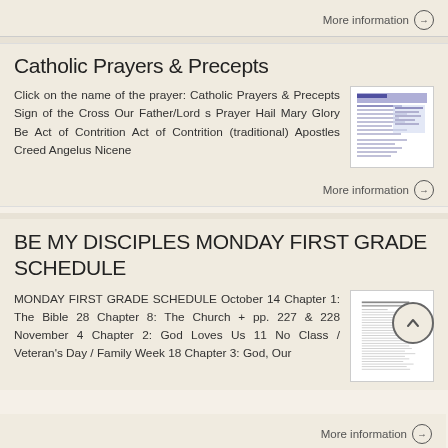More information →
Catholic Prayers & Precepts
Click on the name of the prayer: Catholic Prayers & Precepts Sign of the Cross Our Father/Lord s Prayer Hail Mary Glory Be Act of Contrition Act of Contrition (traditional) Apostles Creed Angelus Nicene
[Figure (screenshot): Thumbnail image of Catholic Prayers & Precepts document]
More information →
BE MY DISCIPLES MONDAY FIRST GRADE SCHEDULE
MONDAY FIRST GRADE SCHEDULE October 14 Chapter 1: The Bible 28 Chapter 8: The Church + pp. 227 & 228 November 4 Chapter 2: God Loves Us 11 No Class / Veteran's Day / Family Week 18 Chapter 3: God, Our
[Figure (screenshot): Thumbnail image of Be My Disciples Monday First Grade Schedule document]
More information →